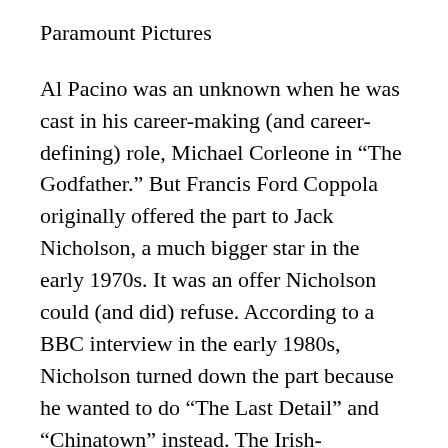Paramount Pictures
Al Pacino was an unknown when he was cast in his career-making (and career-defining) role, Michael Corleone in “The Godfather.” But Francis Ford Coppola originally offered the part to Jack Nicholson, a much bigger star in the early 1970s. It was an offer Nicholson could (and did) refuse. According to a BBC interview in the early 1980s, Nicholson turned down the part because he wanted to do “The Last Detail” and “Chinatown” instead. The Irish-American actor also felt Michael Corleone should be played by an Italian.
It was a good call, as a world without Nicholson in “Chinatown” or Pacino in “The Godfather” is not one we’d want to live in. Still, it’s fun to speculate. Pacino’s Michael was a naif thrown into a situation bigger than himself, rising to the occasion by sinking into the gutter and falling into evil. It’s a brilliant performance